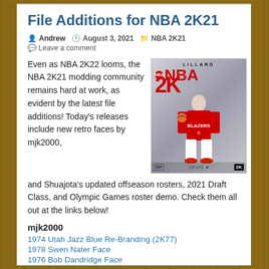File Additions for NBA 2K21
Andrew  August 3, 2021  NBA 2K21  Leave a comment
Even as NBA 2K22 looms, the NBA 2K21 modding community remains hard at work, as evident by the latest file additions! Today's releases include new retro faces by mjk2000, and Shuajota's updated offseason rosters, 2021 Draft Class, and Olympic Games roster demo. Check them all out at the links below!
[Figure (photo): NBA 2K21 game cover featuring Damian Lillard in a Portland Trail Blazers jersey]
mjk2000
1974 Utah Jazz Blue Re-Branding (2K77)
1978 Swen Nater Face
1976 Bob Dandridge Face
1977 Sam Lacey Face